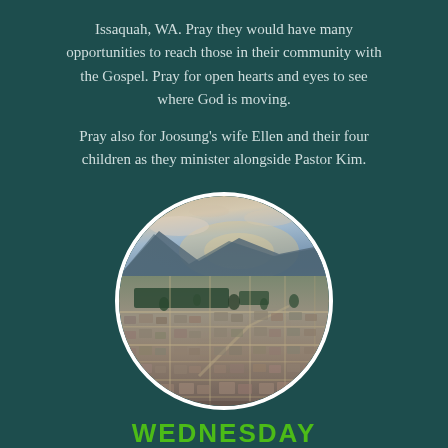Issaquah, WA. Pray they would have many opportunities to reach those in their community with the Gospel. Pray for open hearts and eyes to see where God is moving.

Pray also for Joosung's wife Ellen and their four children as they minister alongside Pastor Kim.
[Figure (photo): Aerial view of a suburban city (Issaquah, WA) with residential neighborhoods, streets, trees, and mountains in the background at sunset/dusk.]
WEDNESDAY